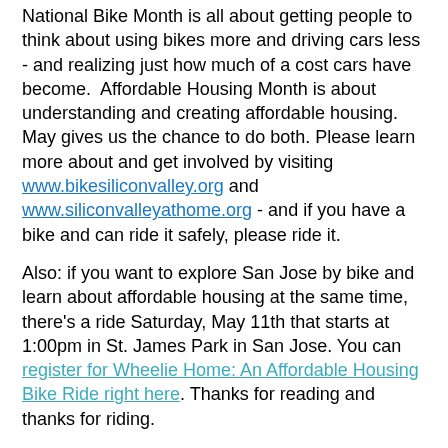National Bike Month is all about getting people to think about using bikes more and driving cars less - and realizing just how much of a cost cars have become.  Affordable Housing Month is about understanding and creating affordable housing. May gives us the chance to do both. Please learn more about and get involved by visiting www.bikesiliconvalley.org and www.siliconvalleyathome.org - and if you have a bike and can ride it safely, please ride it.
Also: if you want to explore San Jose by bike and learn about affordable housing at the same time, there's a ride Saturday, May 11th that starts at 1:00pm in St. James Park in San Jose. You can register for Wheelie Home: An Affordable Housing Bike Ride right here. Thanks for reading and thanks for riding.